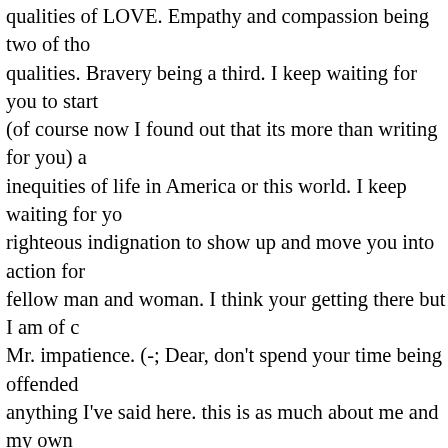qualities of LOVE. Empathy and compassion being two of those qualities. Bravery being a third. I keep waiting for you to start (of course now I found out that its more than writing for you) a inequities of life in America or this world. I keep waiting for you righteous indignation to show up and move you into action for fellow man and woman. I think your getting there but I am of c Mr. impatience. (-; Dear, don't spend your time being offended anything I've said here. this is as much about me and my own sentiments and feelings of ineffectiveness as it is about wanti you MOVE into action yourself. Into what you intuitively know about here on this earth. Justice and a sane and loving, respe world. Objectively I see you having one thing after another dis you from getting 'on your way'. Whether that is lack of a job n lack of having your own homespace, having to go to school to your pre-requisites first, having to wait on the right time to go south so you can get to the 'meat' of your schooling, having to school more to get some degree that isn't going to matter soo waiting, waiting waiting. Ok, that is MY issue about MY life. No less does it not appear to a be so for you too? Don't you FEE inner pressure to get on with it? Your life that is? Don't you fee your always 'on hold'. I do. Now, i know there are no accident account for their being purposes involved here. I am not as av God or Spirit is about what all the big picture here is, I admit t allow for it and it does help me curb that impatience yet it both so, that we are on board a boat where some of its passengers